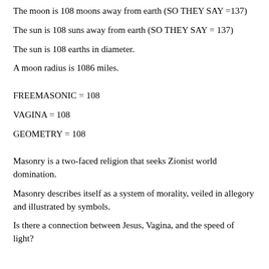The moon is 108 moons away from earth (SO THEY SAY =137)
The sun is 108 suns away from earth (SO THEY SAY = 137)
The sun is 108 earths in diameter.
A moon radius is 1086 miles.
FREEMASONIC = 108
VAGINA = 108
GEOMETRY = 108
Masonry is a two-faced religion that seeks Zionist world domination.
Masonry describes itself as a system of morality, veiled in allegory and illustrated by symbols.
Is there a connection between Jesus, Vagina, and the speed of light?